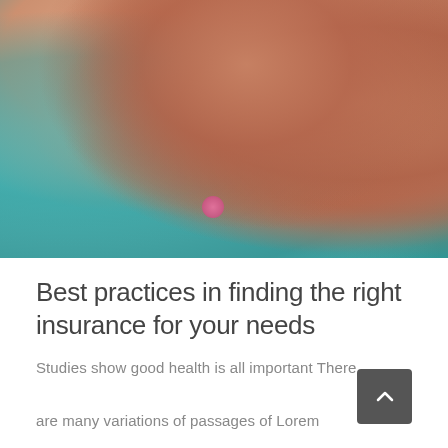[Figure (photo): Close-up photo of a newborn baby being held skin-to-skin against a person wearing a teal/turquoise top. The baby's legs and hands are visible in pink tones.]
Best practices in finding the right insurance for your needs
Studies show good health is all important There are many variations of passages of Lorem Ipsum available, but the majority have suffered